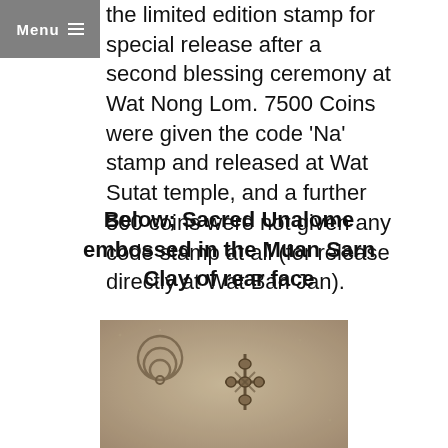Menu
the limited edition stamp for special release after a second blessing ceremony at Wat Nong Lom. 7500 Coins were given the code ‘Na’ stamp and released at Wat Sutat temple, and a further 500 coins were not given any code stamp at all (for release directly at Wat Ban Jan).
Below; Sacred Unalome embossed in the Muan Sarn Clay of rear face
[Figure (photo): Close-up photograph of a Sacred Unalome embossed in Muan Sarn Clay on the rear face of a coin or amulet. The clay surface shows intricate raised patterns including a spiral and cross-like unalome symbol.]